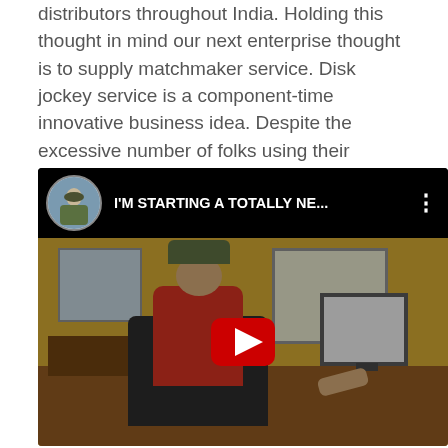distributors throughout India. Holding this thought in mind our next enterprise thought is to supply matchmaker service. Disk jockey service is a component-time innovative business idea. Despite the excessive number of folks using their phones as cameras , mirrorless cameras have by some means grown and created their own niche market.
[Figure (screenshot): YouTube video embed showing a man sitting at a desk working at a computer, wearing a red shirt and camouflage cap, viewed from behind. The video header shows a circular avatar of a person outdoors and the title 'I'M STARTING A TOTALLY NE...' on a black background with a three-dot menu icon. A red YouTube play button is overlaid on the video thumbnail.]